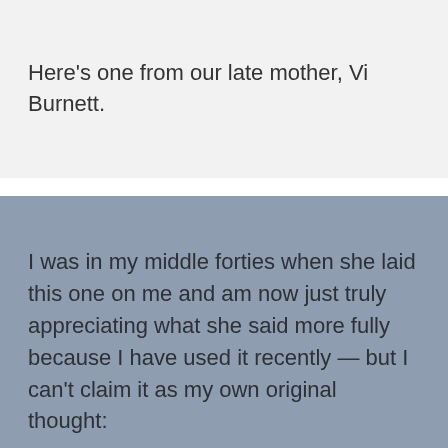Here's one from our late mother, Vi Burnett.
I was in my middle forties when she laid this one on me and am now just truly appreciating what she said more fully because I have used it recently — but I can't claim it as my own original thought: